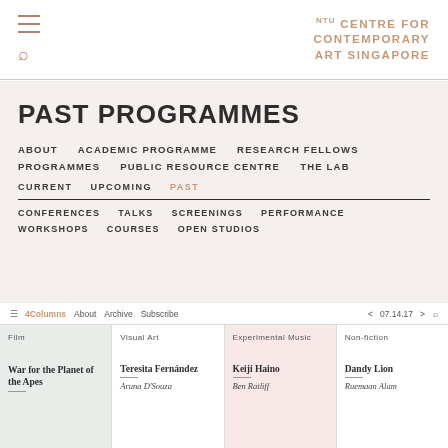NTU CENTRE FOR CONTEMPORARY ART SINGAPORE
PAST PROGRAMMES
ABOUT   ACADEMIC PROGRAMME   RESEARCH FELLOWS   PROGRAMMES   PUBLIC RESOURCE CENTRE   THE LAB
CURRENT   UPCOMING   PAST
CONFERENCES   TALKS   SCREENINGS   PERFORMANCE   WORKSHOPS   COURSES   OPEN STUDIOS
4Columns   About   Archive   Subscribe   07.14.17
Film
Visual Art
Experimental Music
Non-fiction
War for the Planet of the Apes
Teresita Fernández
Keiji Haino
Dandy Lion
Aruna D'Souza
Ben Ratliff
Ruemaan Alam